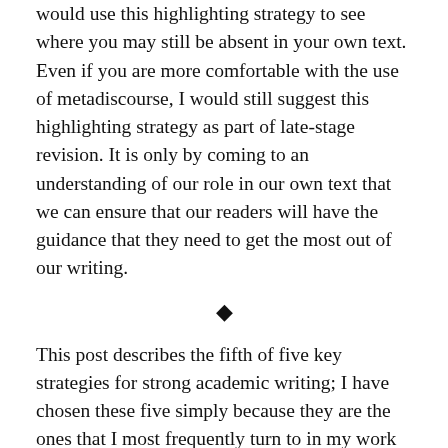would use this highlighting strategy to see where you may still be absent in your own text. Even if you are more comfortable with the use of metadiscourse, I would still suggest this highlighting strategy as part of late-stage revision. It is only by coming to an understanding of our role in our own text that we can ensure that our readers will have the guidance that they need to get the most out of our writing.
♦
This post describes the fifth of five key strategies for strong academic writing; I have chosen these five simply because they are the ones that I most frequently turn to in my work with students. In the four other posts, I discuss reverse outlines, paragraphs, transitions, and sentences.